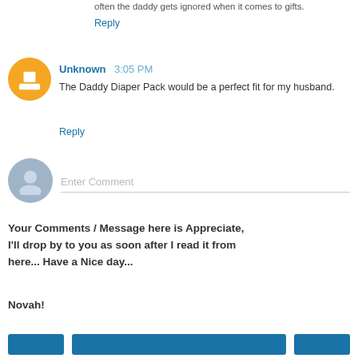often the daddy gets ignored when it comes to gifts.
Reply
Unknown 3:05 PM
The Daddy Diaper Pack would be a perfect fit for my husband.
Reply
Enter Comment
Your Comments / Message here is Appreciate, I'll drop by to you as soon after I read it from here... Have a Nice day...
Novah!